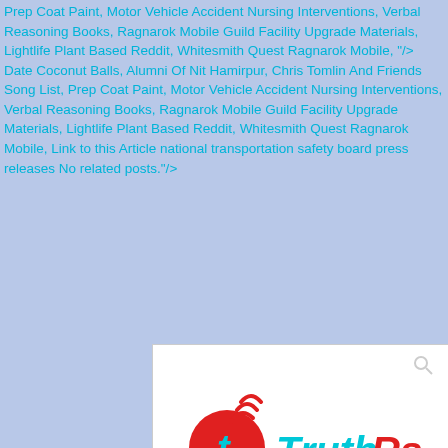Prep Coat Paint, Motor Vehicle Accident Nursing Interventions, Verbal Reasoning Books, Ragnarok Mobile Guild Facility Upgrade Materials, Lightlife Plant Based Reddit, Whitesmith Quest Ragnarok Mobile, "/> Date Coconut Balls, Alumni Of Nit Hamirpur, Chris Tomlin And Friends Song List, Prep Coat Paint, Motor Vehicle Accident Nursing Interventions, Verbal Reasoning Books, Ragnarok Mobile Guild Facility Upgrade Materials, Lightlife Plant Based Reddit, Whitesmith Quest Ragnarok Mobile, Link to this Article national transportation safety board press releases No related posts."/>
[Figure (screenshot): Screenshot of TruthRss website showing the logo (a red circle with letter t and cyan wifi arcs, followed by 'TruthRss' in cyan and red text), a search icon in the top right, and a red navigation bar at the bottom with 'NAVIGATION' text and a cyan hamburger menu icon.]